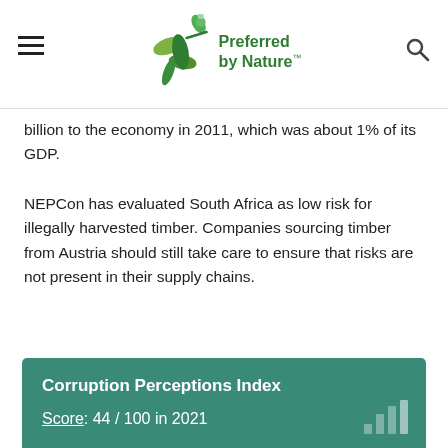Preferred by Nature
billion to the economy in 2011, which was about 1% of its GDP.
NEPCon has evaluated South Africa as low risk for illegally harvested timber. Companies sourcing timber from Austria should still take care to ensure that risks are not present in their supply chains.
Corruption Perceptions Index
Score: 44 / 100 in 2021